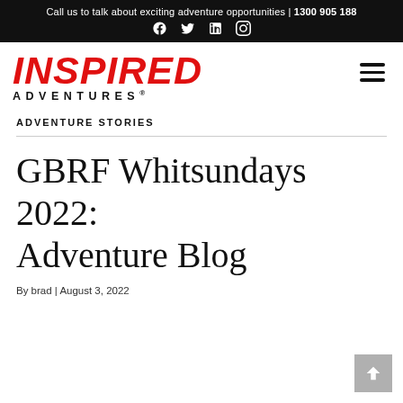Call us to talk about exciting adventure opportunities | 1300 905 188
[Figure (logo): Inspired Adventures logo with red italic INSPIRED text and black ADVENTURES text below]
ADVENTURE STORIES
GBRF Whitsundays 2022: Adventure Blog
By brad | August 3, 2022